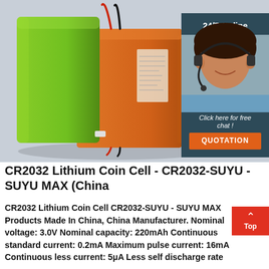[Figure (photo): Product photo showing two lithium battery packs — one green and one orange — with connecting cables, set against a light grey background. A customer service overlay in the top-right shows a woman wearing a headset with '24/7 Online' text, 'Click here for free chat!' and an orange QUOTATION button.]
CR2032 Lithium Coin Cell - CR2032-SUYU - SUYU MAX (China
CR2032 Lithium Coin Cell CR2032-SUYU - SUYU MAX Products Made In China, China Manufacturer. Nominal voltage: 3.0V Nominal capacity: 220mAh Continuous standard current: 0.2mA Maximum pulse current: 16mA Continuous less current: 5μA Less self discharge rate